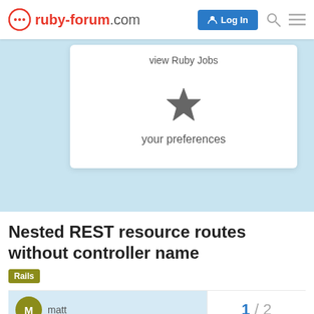ruby-forum.com — Log In
view Ruby Jobs
[Figure (illustration): Star icon representing preferences/bookmarks]
your preferences
Nested REST resource routes without controller name
Rails
matt
1 / 2